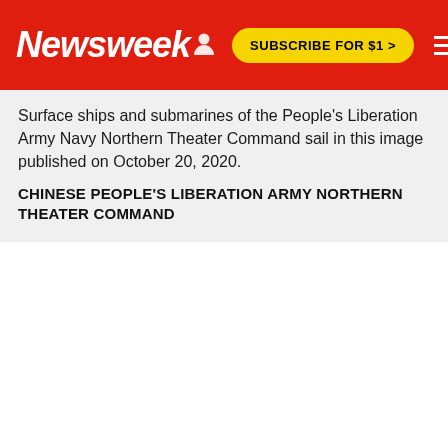Newsweek | SUBSCRIBE FOR $1 >
Surface ships and submarines of the People's Liberation Army Navy Northern Theater Command sail in this image published on October 20, 2020.
CHINESE PEOPLE'S LIBERATION ARMY NORTHERN THEATER COMMAND